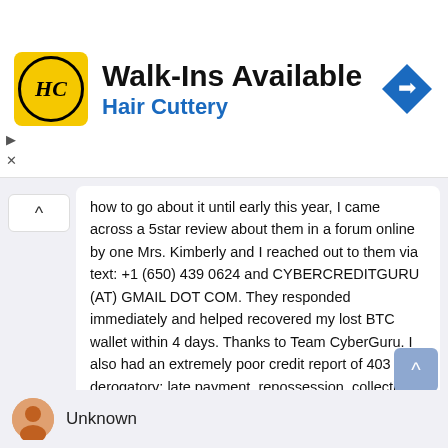[Figure (infographic): Hair Cuttery advertisement banner: yellow/black HC logo circle, text 'Walk-Ins Available' and 'Hair Cuttery' in blue, blue diamond navigation icon on right]
how to go about it until early this year, I came across a 5star review about them in a forum online by one Mrs. Kimberly and I reached out to them via text: +1 (650) 439 0624 and CYBERCREDITGURU (AT) GMAIL DOT COM. They responded immediately and helped recovered my lost BTC wallet within 4 days. Thanks to Team CyberGuru. I also had an extremely poor credit report of 403 with derogatory; late payment, repossession, collections and foreclosure. They also cleared all negative items from my credit report and upgraded my FICO score to 810 across all three major bureaus. Now with no doubts I can say 2022 is a great year for me as I am a proud owner of a new house and a car. All thanks to CYBERCREDITGURU once again. They are my messiah! I confidently recommend them to you.
Reply
Delete
Unknown